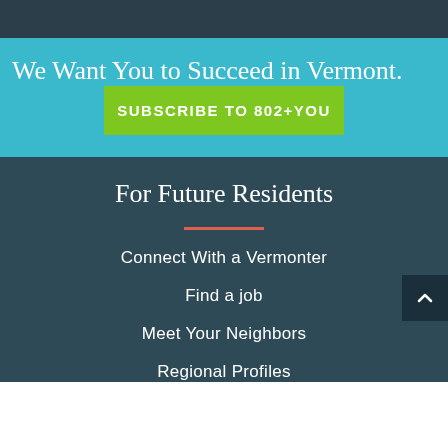We Want You to Succeed in Vermont.
SUBSCRIBE TO 802+YOU
For Future Residents
Connect With a Vermonter
Find a job
Meet Your Neighbors
Regional Profiles